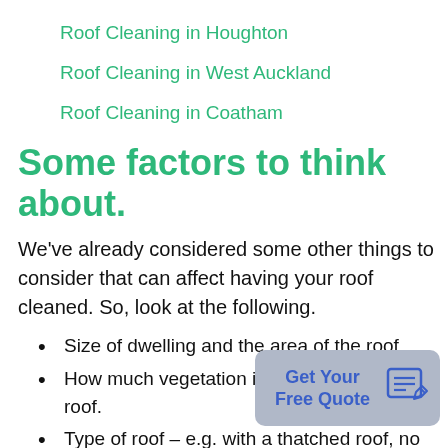Roof Cleaning in Houghton
Roof Cleaning in West Auckland
Roof Cleaning in Coatham
Some factors to think about.
We've already considered some other things to consider that can affect having your roof cleaned. So, look at the following.
Size of dwelling and the area of the roof.
How much vegetation is growing on the roof.
Type of roof – e.g. with a thatched roof, no water is involved.